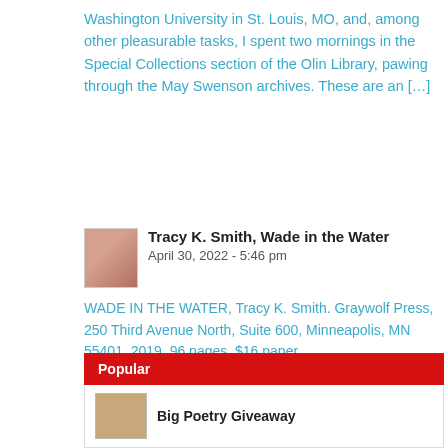Washington University in St. Louis, MO, and, among other pleasurable tasks, I spent two mornings in the Special Collections section of the Olin Library, pawing through the May Swenson archives. These are an […]
Tracy K. Smith, Wade in the Water
April 30, 2022 - 5:46 pm
WADE IN THE WATER, Tracy K. Smith. Graywolf Press, 250 Third Avenue North, Suite 600, Minneapolis, MN 55401, 2019, 96 pages, $16 paper, www.graywolfpress.org. For my last poet in #nationalpoetrymonth, this book is too perfect. Here's Graywolf Press's description: In Wade in the Water, Pulitzer Prize winner Tracy K. Smith boldly ties America's contemporary moment both […]
Popular
Big Poetry Giveaway